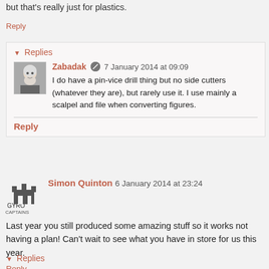but that's really just for plastics.
Reply
▼ Replies
Zabadak  7 January 2014 at 09:09
I do have a pin-vice drill thing but no side cutters (whatever they are), but rarely use it. I use mainly a scalpel and file when converting figures.
Reply
Simon Quinton  6 January 2014 at 23:24
Last year you still produced some amazing stuff so it works not having a plan! Can't wait to see what you have in store for us this year.
Reply
▼ Replies